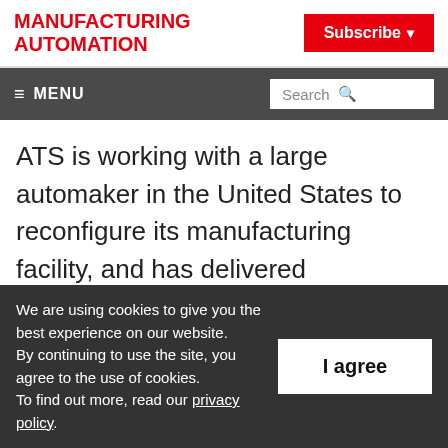MANUFACTURING AUTOMATION
Subscribe
≡ MENU | Search
ATS is working with a large automaker in the United States to reconfigure its manufacturing facility, and has delivered equipment to enable the wide-scale production of filtering facepiece respirators (FFR) masks. Launch of the project to delivery
We are using cookies to give you the best experience on our website.
By continuing to use the site, you agree to the use of cookies.
To find out more, read our privacy policy.